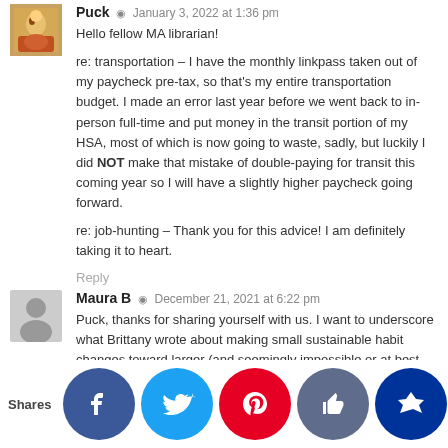[Figure (photo): Avatar image of user Puck - illustrated character]
Puck · January 3, 2022 at 1:36 pm
Hello fellow MA librarian!

re: transportation – I have the monthly linkpass taken out of my paycheck pre-tax, so that's my entire transportation budget. I made an error last year before we went back to in-person full-time and put money in the transit portion of my HSA, most of which is now going to waste, sadly, but luckily I did NOT make that mistake of double-paying for transit this coming year so I will have a slightly higher paycheck going forward.

re: job-hunting – Thank you for this advice! I am definitely taking it to heart.
Reply
[Figure (photo): Generic avatar placeholder for user Maura B]
Maura B · December 21, 2021 at 6:22 pm
Puck, thanks for sharing yourself with us. I want to underscore what Brittany wrote about making small sustainable habit changes toward larger (and seemingly impossible or at best overwhelming goals...
I suggest you borrow the book Atomic Habits by James Cl...
Shares